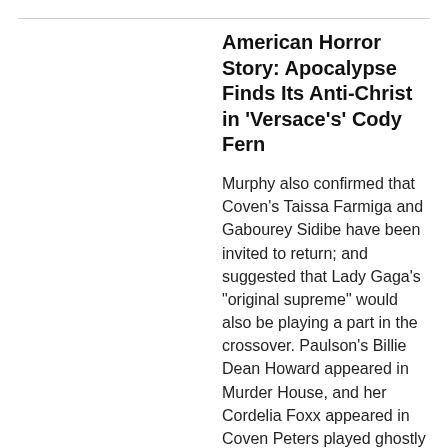American Horror Story: Apocalypse Finds Its Anti-Christ in 'Versace's' Cody Fern
Murphy also confirmed that Coven's Taissa Farmiga and Gabourey Sidibe have been invited to return; and suggested that Lady Gaga's "original supreme" would also be playing a part in the crossover. Paulson's Billie Dean Howard appeared in Murder House, and her Cordelia Foxx appeared in Coven Peters played ghostly teen Tate Langdon in Murder House and[...]